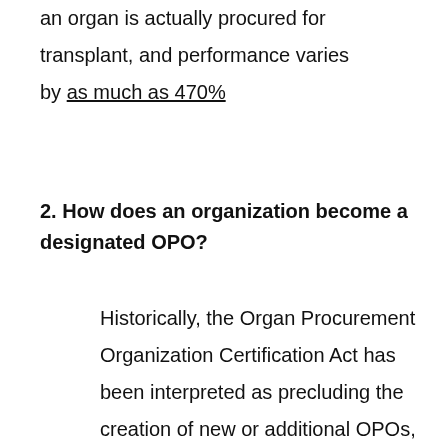an organ is actually procured for transplant, and performance varies by as much as 470%
2. How does an organization become a designated OPO?
Historically, the Organ Procurement Organization Certification Act has been interpreted as precluding the creation of new or additional OPOs, although the actual statutory language does not seem to ban this